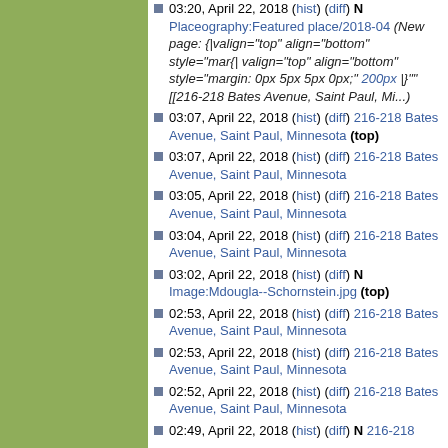03:20, April 22, 2018 (hist) (diff) N Placeography:Featured place/2018-04 (New page: {|valign="top" align="bottom" style="mar{| valign="top" align="bottom" style="margin: 0px 5px 5px 0px;" 200px |}""[[216-218 Bates Avenue, Saint Paul, Mi...)
03:07, April 22, 2018 (hist) (diff) 216-218 Bates Avenue, Saint Paul, Minnesota (top)
03:07, April 22, 2018 (hist) (diff) 216-218 Bates Avenue, Saint Paul, Minnesota
03:05, April 22, 2018 (hist) (diff) 216-218 Bates Avenue, Saint Paul, Minnesota
03:04, April 22, 2018 (hist) (diff) 216-218 Bates Avenue, Saint Paul, Minnesota
03:02, April 22, 2018 (hist) (diff) N Image:Mdougla--Schornstein.jpg (top)
02:53, April 22, 2018 (hist) (diff) 216-218 Bates Avenue, Saint Paul, Minnesota
02:53, April 22, 2018 (hist) (diff) 216-218 Bates Avenue, Saint Paul, Minnesota
02:52, April 22, 2018 (hist) (diff) 216-218 Bates Avenue, Saint Paul, Minnesota
02:49, April 22, 2018 (hist) (diff) N 216-218...